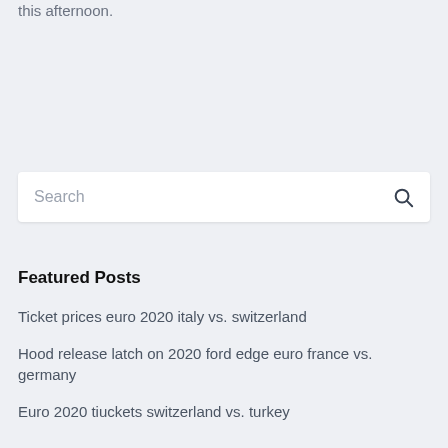this afternoon.
Search
Featured Posts
Ticket prices euro 2020 italy vs. switzerland
Hood release latch on 2020 ford edge euro france vs. germany
Euro 2020 tiuckets switzerland vs. turkey